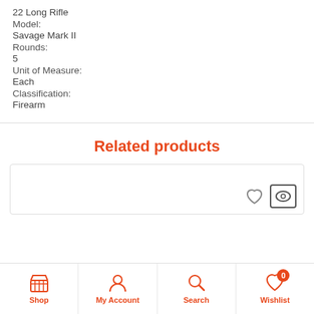22 Long Rifle
Model:
Savage Mark II
Rounds:
5
Unit of Measure:
Each
Classification:
Firearm
Related products
[Figure (screenshot): Partial product card with heart and eye icons visible in the bottom right corner]
Shop | My Account | Search | Wishlist (0)